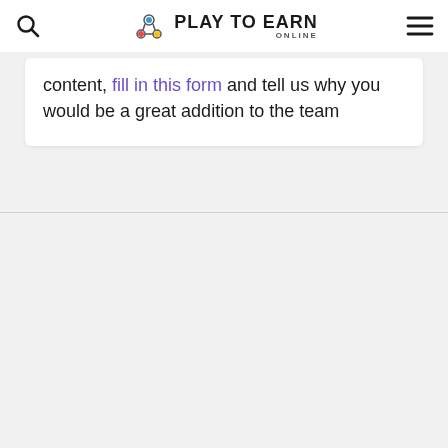Play To Earn Online
content, fill in this form and tell us why you would be a great addition to the team